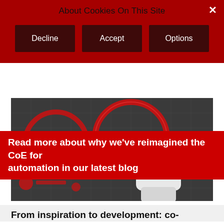About Cookies On This Site
Decline
Accept
Options
Read more about why we've reimagined the CoE for automation in our latest blog
[Figure (photo): Robot hand touching a red circular interface on a dark digital display background]
From inspiration to development: co-